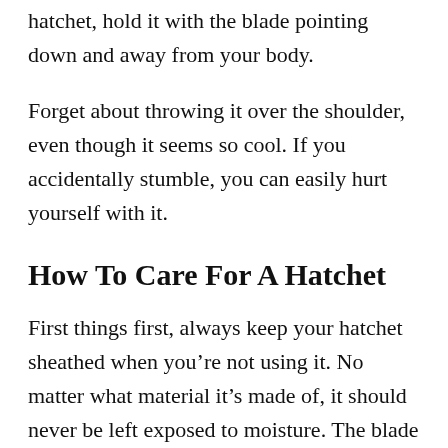hatchet, hold it with the blade pointing down and away from your body.
Forget about throwing it over the shoulder, even though it seems so cool. If you accidentally stumble, you can easily hurt yourself with it.
How To Care For A Hatchet
First things first, always keep your hatchet sheathed when you’re not using it. No matter what material it’s made of, it should never be left exposed to moisture. The blade will rust,